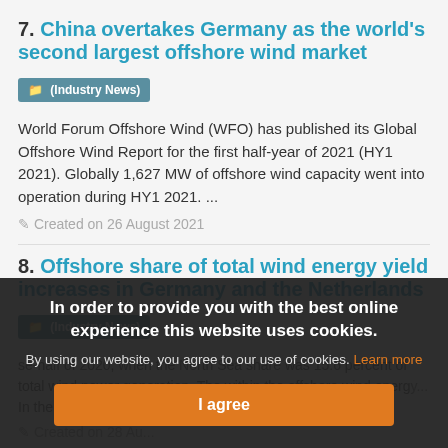7. China overtakes Germany as the world's second largest offshore wind market
(Industry News)
World Forum Offshore Wind (WFO) has published its Global Offshore Wind Report for the first half-year of 2021 (HY1 2021). Globally 1,627 MW of offshore wind capacity went into operation during HY1 2021. ...
Created on 26 August 2021
8. Offshore share of total wind energy yield increases in Germany and the Netherlands
(Industry News)
se-half of 2020, when the North Sea share was 15.6 percent of total wind power generation. The within the offshore wind energy... in the Netherlands...
Created on 28 Au...
In order to provide you with the best online experience this website uses cookies.
By using our website, you agree to our use of cookies. Learn more
I agree